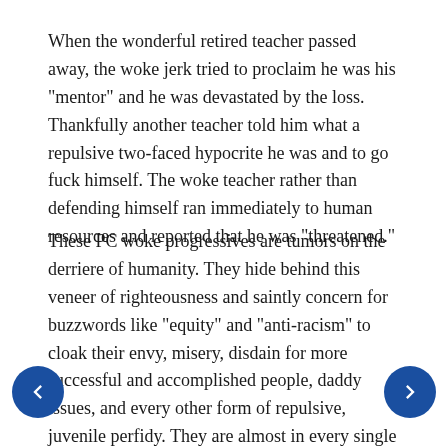When the wonderful retired teacher passed away, the woke jerk tried to proclaim he was his "mentor" and he was devastated by the loss. Thankfully another teacher told him what a repulsive two-faced hypocrite he was and to go fuck himself. The woke teacher rather than defending himself ran immediately to human resources and reported that he was "threatened."
These PC woke progressives are tumors on the derriere of humanity. They hide behind this veneer of righteousness and saintly concern for buzzwords like "equity" and "anti-racism" to cloak their envy, misery, disdain for more successful and accomplished people, daddy issues, and every other form of repulsive, juvenile perfidy. They are almost in every single case the most hypocritical, backstabbing, immature, maladjusted mental cases. More of them need to be simply told to go fuck themselves and in many cases given a good old knuckle sandwich.